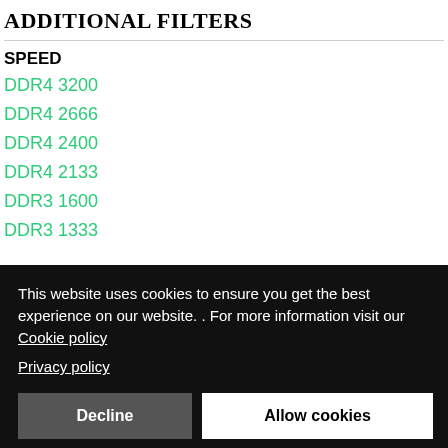ADDITIONAL FILTERS
SPEED
DDR4 3200
DDR4 2666
DDR4 2400
DDR4 2133
DDR3 1600
DDR3 1333
This website uses cookies to ensure you get the best experience on our website. . For more information visit our Cookie policy
Privacy policy
Decline | Allow cookies
4GB